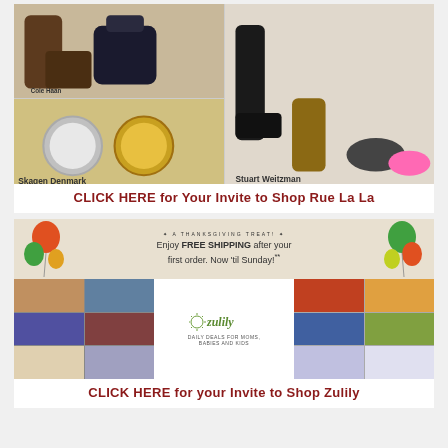[Figure (screenshot): Rue La La shopping advertisement collage showing boots, bags, watches, Oakley sportswear, FENDI Women, Stuart Weitzman shoes, gifts for chef section]
CLICK HERE for Your Invite to Shop Rue La La
[Figure (screenshot): Zulily advertisement: A Thanksgiving Treat! Enjoy FREE SHIPPING after your first order. Now 'til Sunday!** with balloons, children photos, and zulily logo. Daily deals for moms, babies and kids.]
CLICK HERE for your Invite to Shop Zulily